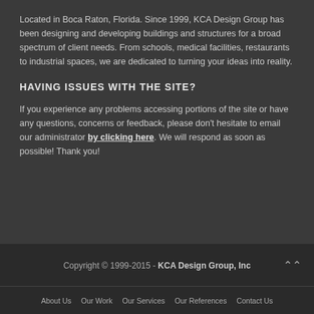Located in Boca Raton, Florida. Since 1999, KCA Design Group has been designing and developing buildings and structures for a broad spectrum of client needs. From schools, medical facilities, restaurants to industrial spaces, we are dedicated to turning your ideas into reality.
HAVING ISSUES WITH THE SITE?
If you experience any problems accessing portions of the site or have any questions, concerns or feedback, please don't hesitate to email our administrator by clicking here. We will respond as soon as possible! Thank you!
Copyright © 1999-2015 - KCA Design Group, Inc
About Us   Our Work   Our Services   Our References   Contact Us